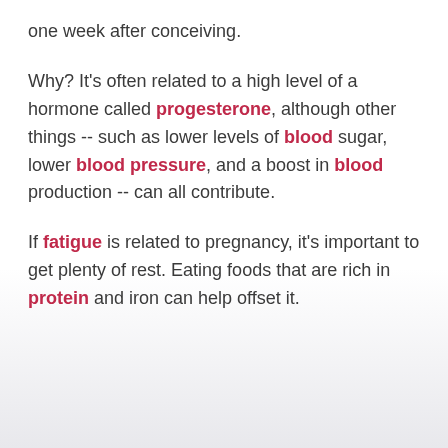one week after conceiving.
Why? It's often related to a high level of a hormone called progesterone, although other things -- such as lower levels of blood sugar, lower blood pressure, and a boost in blood production -- can all contribute.
If fatigue is related to pregnancy, it's important to get plenty of rest. Eating foods that are rich in protein and iron can help offset it.